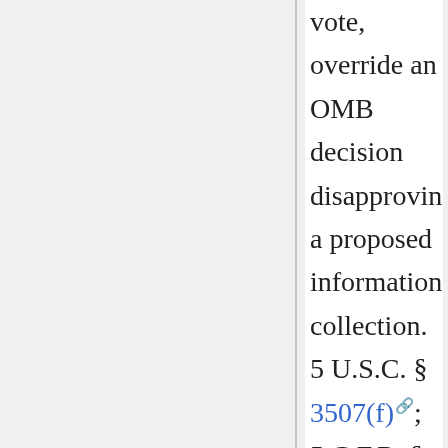vote, override an OMB decision disapproving a proposed information collection. 5 U.S.C. § 3507(f); 5 C.F.R. § 1320.15. The Act also contains the only extant statutory definition of “independent regulatory agency” in 5 U.S.C. § 3502(5), which has been cross-referenced in a